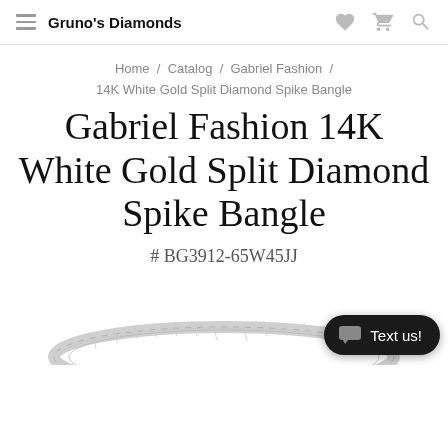Gruno's Diamonds
Home / Catalog / Gabriel Fashion /
14K White Gold Split Diamond Spike Bangle
Gabriel Fashion 14K White Gold Split Diamond Spike Bangle
# BG3912-65W45JJ
[Figure (photo): Partial photo of a white gold bangle bracelet at the bottom of the page]